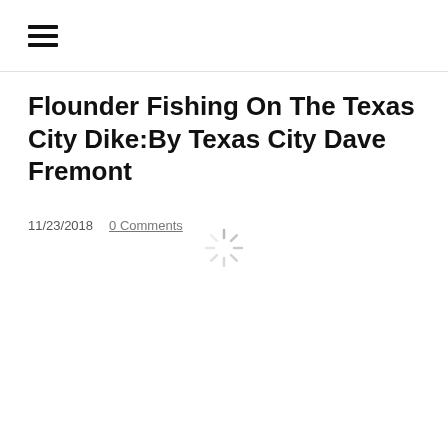≡
Flounder Fishing On The Texas City Dike:By Texas City Dave Fremont
11/23/2018   0 Comments
[Figure (other): Loading spinner / throbber icon indicating content is loading]